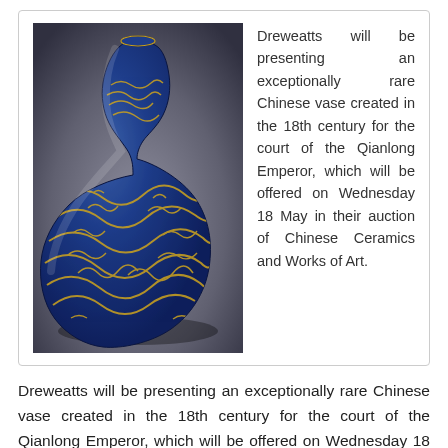[Figure (photo): A Chinese blue and gold vase (Tianqiu ping / heaven ball vase) decorated with golden dragon motifs on a deep cobalt blue ground, created in the 18th century for the court of the Qianlong Emperor.]
Dreweatts will be presenting an exceptionally rare Chinese vase created in the 18th century for the court of the Qianlong Emperor, which will be offered on Wednesday 18 May in their auction of Chinese Ceramics and Works of Art.
Dreweatts will be presenting an exceptionally rare Chinese vase created in the 18th century for the court of the Qianlong Emperor, which will be offered on Wednesday 18 May in their auction of Chinese Ceramics and Works of Art. It was purchased by a surgeon in the 1980s for a few hundred pounds and passed from the original owner to his son, who also, not realising its true value positioned it in his kitchen. It was only when a visiting antiques specialist spotted it, that its true value and history was revealed.